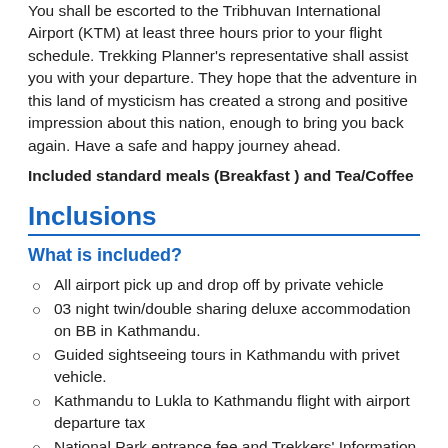You shall be escorted to the Tribhuvan International Airport (KTM) at least three hours prior to your flight schedule. Trekking Planner's representative shall assist you with your departure. They hope that the adventure in this land of mysticism has created a strong and positive impression about this nation, enough to bring you back again. Have a safe and happy journey ahead.
Included standard meals (Breakfast ) and Tea/Coffee
Inclusions
What is included?
All airport pick up and drop off by private vehicle
03 night twin/double sharing deluxe accommodation on BB in Kathmandu.
Guided sightseeing tours in Kathmandu with privet vehicle.
Kathmandu to Lukla to Kathmandu flight with airport departure tax
National Park entrance fee and Trekkers' Information Management System( TIMS card)